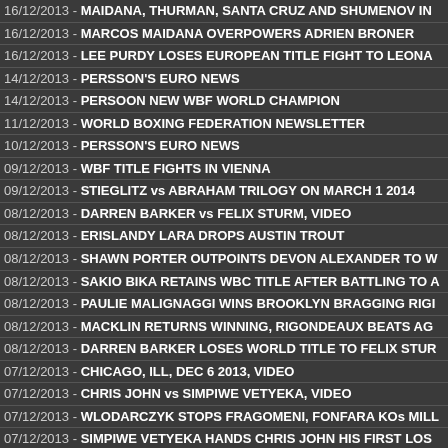16/12/2013 - MAIDANA, THURMAN, SANTA CRUZ AND SHUMENOV IN
16/12/2013 - MARCOS MAIDANA OVERPOWERS ADRIEN BRONER
16/12/2013 - LEE PURDY LOSES EUROPEAN TITLE FIGHT TO LEONA
14/12/2013 - PERSSON'S EURO NEWS
14/12/2013 - PERSOON NEW WBF WORLD CHAMPION
11/12/2013 - WORLD BOXING FEDERATION NEWSLETTER
10/12/2013 - PERSSON'S EURO NEWS
09/12/2013 - WBF TITLE FIGHTS IN VIENNA
09/12/2013 - STIEGLITZ vs ABRAHAM TRILOGY ON MARCH 1 2014
08/12/2013 - DARREN BARKER vs FELIX STURM, VIDEO
08/12/2013 - ERISLANDY LARA DROPS AUSTIN TROUT
08/12/2013 - SHAWN PORTER OUTPOINTS DEVON ALEXANDER TO W
08/12/2013 - SAKIO BIKA RETAINS WBC TITLE AFTER BATTLING TO A
08/12/2013 - PAULIE MALIGNAGGI WINS BROOKLYN BRAGGING RIGI
08/12/2013 - MACKLIN RETURNS WINNING, RIGONDEAUX BEATS AG
08/12/2013 - DARREN BARKER LOSES WORLD TITLE TO FELIX STUR
07/12/2013 - CHICAGO, ILL, DEC 6 2013, VIDEO
07/12/2013 - CHRIS JOHN vs SIMPIWE VETYEKA, VIDEO
07/12/2013 - WLODARCZYK STOPS FRAGOMENI, FONFARA KOs MILL
07/12/2013 - SIMPIWE VETYEKA HANDS CHRIS JOHN HIS FIRST LOS
07/12/2013 - AKIRA YAEGASHI DEFEATED EDGAR SOSA
05/12/2013 - HAMMER AND KUEHNE DEFENDS WBF WORLD TITLES
05/12/2013 - PRICE VACATES BRITISH AND COMMONWEALTH TITLES
04/12/2013 - PERSSON'S EURO NEWS AND RESULTS
04/12/2013 - CELTIC WARRIOR vs ROAD WARRIOR, WBU BELT
03/12/2013 - INDIAN BOXING FEDERATION'S SUSPENSION TO CONTI
...